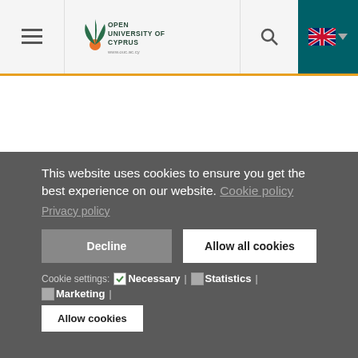Open University of Cyprus — navigation header with hamburger menu, logo, search, and language selector
[Figure (logo): Open University of Cyprus logo with stylized flame/leaf icon and text: OPEN UNIVERSITY OF CYPRUS www.ouc.ac.cy]
This website uses cookies to ensure you get the best experience on our website. Cookie policy
Privacy policy
Decline | Allow all cookies
Cookie settings: Necessary | Statistics | Marketing |
Allow cookies